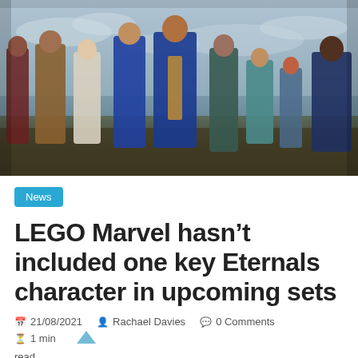[Figure (photo): Group photo of the Eternals movie characters standing on a beach in their superhero costumes, with an overcast sky in the background.]
News
LEGO Marvel hasn't included one key Eternals character in upcoming sets
21/08/2021   Rachael Davies   0 Comments   1 min read